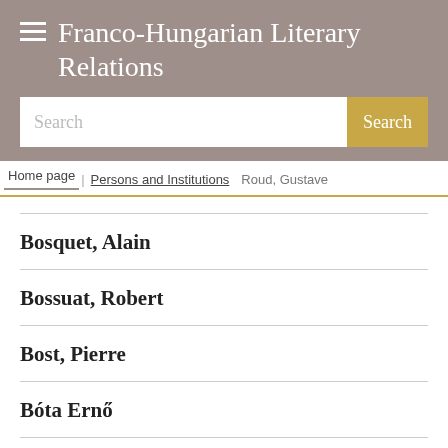Franco-Hungarian Literary Relations
Search
Home page / Persons and Institutions / Roud, Gustave
Bosquet, Alain
Bossuat, Robert
Bost, Pierre
Bóta Ernő